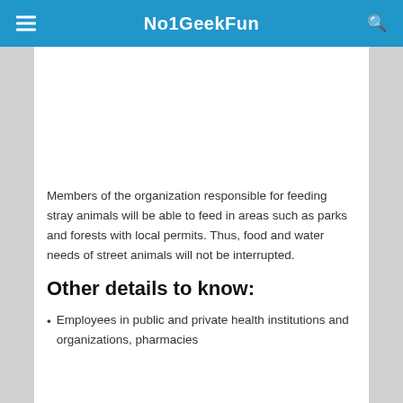No1GeekFun
Members of the organization responsible for feeding stray animals will be able to feed in areas such as parks and forests with local permits. Thus, food and water needs of street animals will not be interrupted.
Other details to know:
Employees in public and private health institutions and organizations, pharmacies